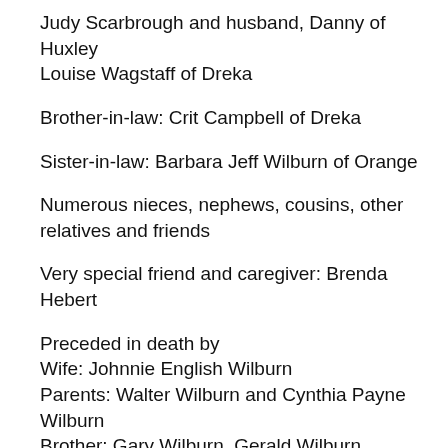Judy Scarbrough and husband, Danny of Huxley
Louise Wagstaff of Dreka
Brother-in-law: Crit Campbell of Dreka
Sister-in-law: Barbara Jeff Wilburn of Orange
Numerous nieces, nephews, cousins, other relatives and friends
Very special friend and caregiver: Brenda Hebert
Preceded in death by
Wife: Johnnie English Wilburn
Parents: Walter Wilburn and Cynthia Payne Wilburn
Brother: Gary Wilburn, Gerald Wilburn
Pallbearers will be Pete Campbell, Lloyd Campbell, Jimmy Campbell, Lynn Davis, Bo Henley and Frankie